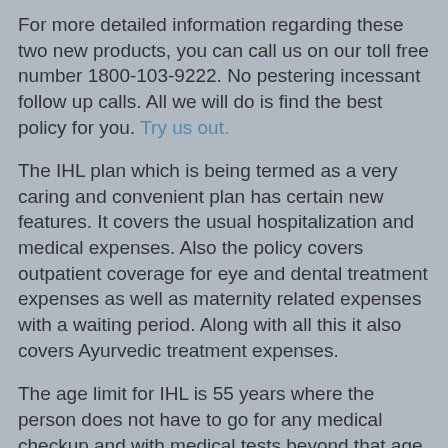For more detailed information regarding these two new products, you can call us on our toll free number 1800-103-9222. No pestering incessant follow up calls. All we will do is find the best policy for you. Try us out.
The IHL plan which is being termed as a very caring and convenient plan has certain new features. It covers the usual hospitalization and medical expenses. Also the policy covers outpatient coverage for eye and dental treatment expenses as well as maternity related expenses with a waiting period. Along with all this it also covers Ayurvedic treatment expenses.
The age limit for IHL is 55 years where the person does not have to go for any medical checkup and with medical tests beyond that age.
AG at 11:37 AM    No comments:
Share
TUESDAY, JUNE 7, 2011